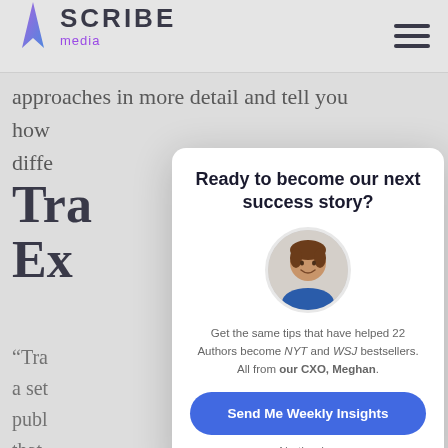[Figure (logo): Scribe Media logo with purple flame/feather icon and hamburger menu on the right]
approaches in more detail and tell you how diffe
Tra Ex
“Tra a set publ that “boo
Ready to become our next success story?
[Figure (photo): Circular avatar photo of Meghan, CXO, a woman with brown hair wearing a blue top]
Get the same tips that have helped 22 Authors become NYT and WSJ bestsellers. All from our CXO, Meghan.
Send Me Weekly Insights
No thanks.